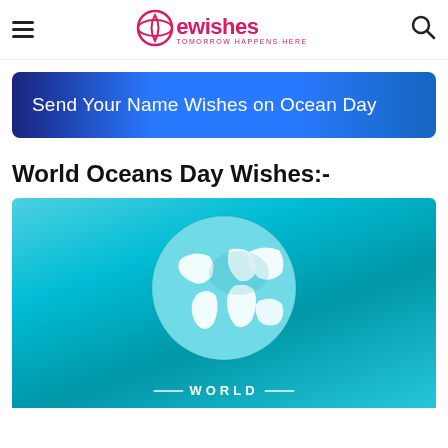ewishes — TOMORROW HAPPENS HERE
Send Your Name Wishes on Ocean Day
World Oceans Day Wishes:-
[Figure (illustration): World Oceans Day illustration with a cyan/teal background showing a white and teal globe with continents, and 'WORLD' text at the bottom with decorative wave lines.]